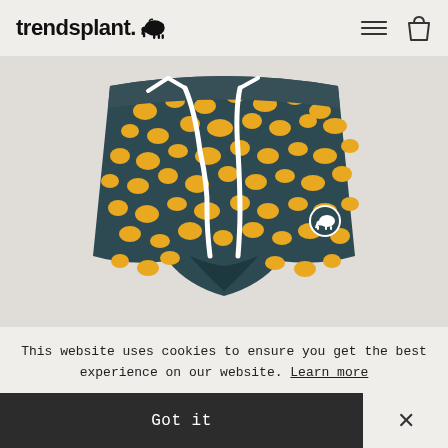trendsplant.
[Figure (photo): Dark navy and golden yellow leopard/elephant print swim shorts with white drawstring cord and a small circular elephant logo badge on the right side. Shot on a light grey background.]
This website uses cookies to ensure you get the best experience on our website. Learn more
Got it